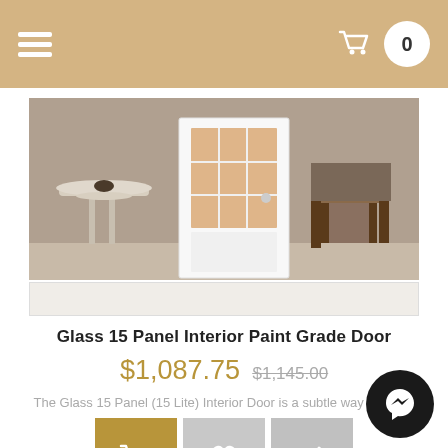Navigation header with hamburger menu and cart icon showing 0 items
[Figure (photo): Interior door product photo showing a glass 15-panel white door with side tables and chair in an interior setting]
Glass 15 Panel Interior Paint Grade Door
$1,087.75  $1,145.00
The Glass 15 Panel (15 Lite) Interior Door is a subtle way to add...
[Figure (infographic): Three action buttons: add to cart (tan), wishlist (gray heart), compare (gray arrows)]
[Figure (photo): Second product photo showing a barn door on sliding hardware track, partially visible, with Sale! badge]
[Figure (infographic): Messenger chat bubble icon in black circle at bottom right]